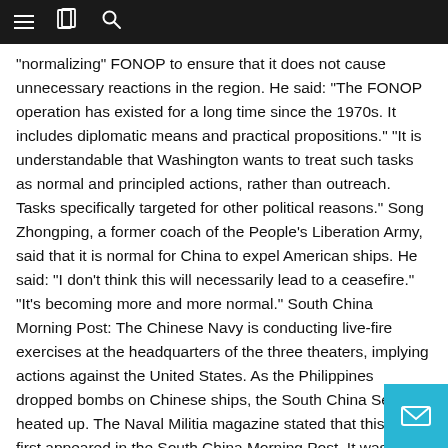[navigation bar with menu, book, and search icons]
“normalizing” FONOP to ensure that it does not cause unnecessary reactions in the region. He said: “The FONOP operation has existed for a long time since the 1970s. It includes diplomatic means and practical propositions.” “It is understandable that Washington wants to treat such tasks as normal and principled actions, rather than outreach. Tasks specifically targeted for other political reasons.” Song Zhongping, a former coach of the People’s Liberation Army, said that it is normal for China to expel American ships. He said: “I don’t think this will necessarily lead to a ceasefire.” “It’s becoming more and more normal.” South China Morning Post: The Chinese Navy is conducting live-fire exercises at the headquarters of the three theaters, implying actions against the United States. As the Philippines dropped bombs on Chinese ships, the South China Sea heated up. The Naval Militia magazine stated that this article first appeared in the South China Morning Post. It was news that a US warship crossed the Vietnam Sea to challenge “illegal maritime claims.” For the latest news from the South China Morning Post, please download our mobile app. Copyright 2021.
Book your next meeting or event at the participating Marriott Bo